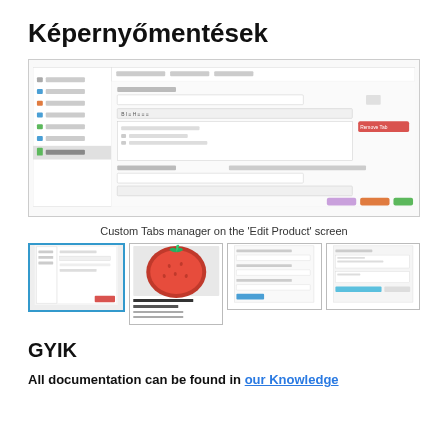Képernyőmentések
[Figure (screenshot): Custom Tabs manager on the 'Edit Product' screen - showing a WordPress product editor with custom tabs interface, multiple tabs and a remove tab button visible]
Custom Tabs manager on the 'Edit Product' screen
[Figure (screenshot): Four thumbnail screenshots: first showing a list/table view (selected with blue border), second showing a strawberry product image with product details, third showing a product tab settings form, fourth showing another settings interface with a blue bar]
GYIK
All documentation can be found in our Knowledge